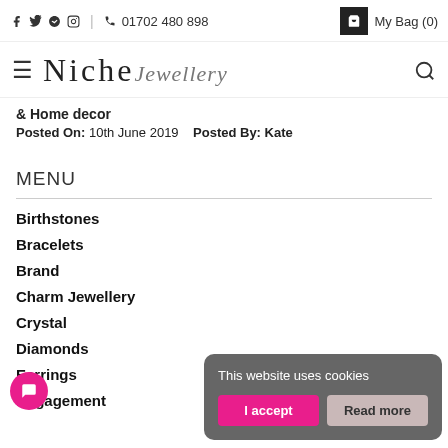f  twitter  pinterest  instagram  |  📞  01702 480 898     My Bag (0)
Niche Jewellery
& Home decor
Posted On: 10th June 2019    Posted By: Kate
MENU
Birthstones
Bracelets
Brand
Charm Jewellery
Crystal
Diamonds
Earrings
Engagement
This website uses cookies